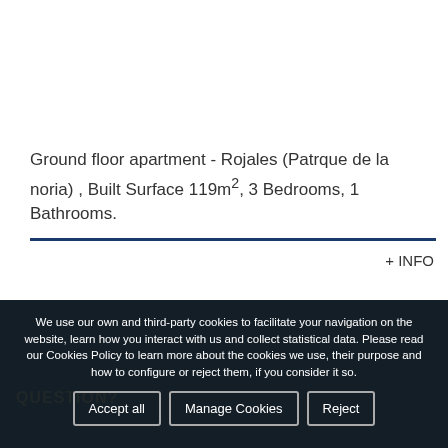Ground floor apartment - Rojales (Patrque de la noria) , Built Surface 119m², 3 Bedrooms, 1 Bathrooms.
+ INFO
We use our own and third-party cookies to facilitate your navigation on the website, learn how you interact with us and collect statistical data. Please read our Cookies Policy to learn more about the cookies we use, their purpose and how to configure or reject them, if you consider it so.
Accept all
Manage Cookies
Reject
QUESTION?